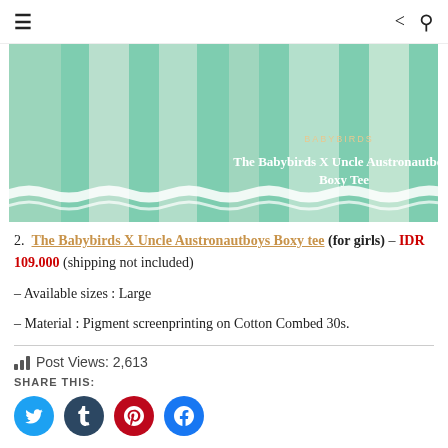≡  share  search
[Figure (photo): Product photo of The Babybirds X Uncle Austronautboys Boxy Tee — green and white striped fabric with white wavy border overlay and text overlay showing product name]
2. The Babybirds X Uncle Austronautboys Boxy tee (for girls) – IDR 109.000 (shipping not included)
– Available sizes : Large
– Material : Pigment screenprinting on Cotton Combed 30s.
Post Views: 2,613
SHARE THIS:
Twitter Tumblr Pinterest Facebook